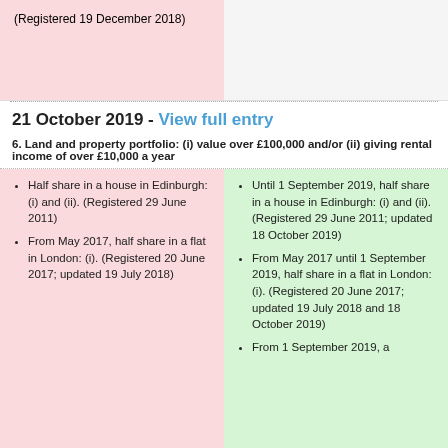(Registered 19 December 2018)
21 October 2019 - View full entry
6. Land and property portfolio: (i) value over £100,000 and/or (ii) giving rental income of over £10,000 a year
Half share in a house in Edinburgh: (i) and (ii). (Registered 29 June 2011)
From May 2017, half share in a flat in London: (i). (Registered 20 June 2017; updated 19 July 2018)
Until 1 September 2019, half share in a house in Edinburgh: (i) and (ii). (Registered 29 June 2011; updated 18 October 2019)
From May 2017 until 1 September 2019, half share in a flat in London: (i). (Registered 20 June 2017; updated 19 July 2018 and 18 October 2019)
From 1 September 2019, a